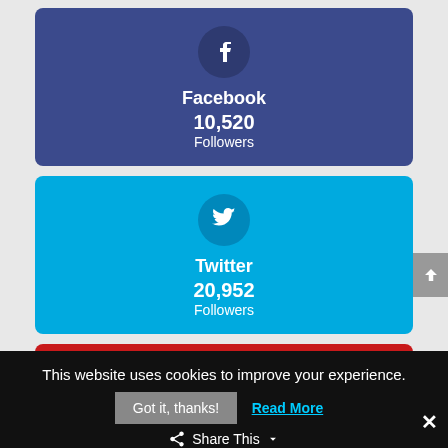[Figure (infographic): Facebook social media follower count card with blue/purple background, Facebook 'f' icon in circle, showing 10,520 Followers]
[Figure (infographic): Twitter social media follower count card with cyan/blue background, Twitter bird icon in circle, showing 20,952 Followers]
[Figure (infographic): Pinterest social media follower count card with red background, Pinterest 'p' icon in circle, showing 4,592 Followers]
This website uses cookies to improve your experience.
Got it, thanks!  Read More
Share This